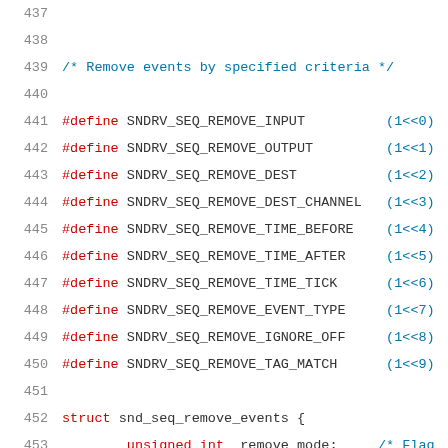Source code listing lines 437-458 showing C header definitions for SNDRV_SEQ_REMOVE_* constants and struct snd_seq_remove_events
437: (blank)
438: (blank)
439: /* Remove events by specified criteria */
440: (blank)
441: #define SNDRV_SEQ_REMOVE_INPUT      (1<<0)
442: #define SNDRV_SEQ_REMOVE_OUTPUT     (1<<1)
443: #define SNDRV_SEQ_REMOVE_DEST       (1<<2)
444: #define SNDRV_SEQ_REMOVE_DEST_CHANNEL (1<<3)
445: #define SNDRV_SEQ_REMOVE_TIME_BEFORE (1<<4)
446: #define SNDRV_SEQ_REMOVE_TIME_AFTER  (1<<5)
447: #define SNDRV_SEQ_REMOVE_TIME_TICK   (1<<6)
448: #define SNDRV_SEQ_REMOVE_EVENT_TYPE  (1<<7)
449: #define SNDRV_SEQ_REMOVE_IGNORE_OFF  (1<<8)
450: #define SNDRV_SEQ_REMOVE_TAG_MATCH   (1<<9)
451: (blank)
452: struct snd_seq_remove_events {
453:         unsigned int  remove_mode;    /* Flags
454: (blank)
455:         union snd_seq_timestamp time;
456: (blank)
457:         unsigned char queue;    /* Queue for RE
458:         struct snd_seq_addr dest;    /* Addr